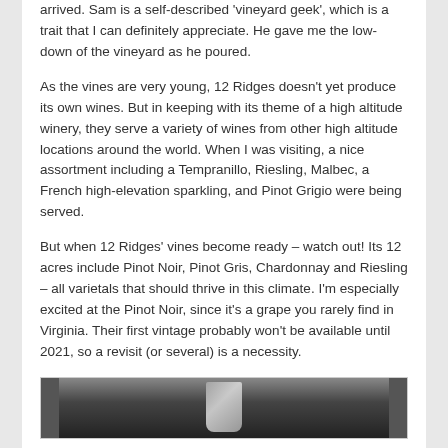arrived. Sam is a self-described 'vineyard geek', which is a trait that I can definitely appreciate. He gave me the low-down of the vineyard as he poured.
As the vines are very young, 12 Ridges doesn't yet produce its own wines. But in keeping with its theme of a high altitude winery, they serve a variety of wines from other high altitude locations around the world. When I was visiting, a nice assortment including a Tempranillo, Riesling, Malbec, a French high-elevation sparkling, and Pinot Grigio were being served.
But when 12 Ridges' vines become ready – watch out! Its 12 acres include Pinot Noir, Pinot Gris, Chardonnay and Riesling – all varietals that should thrive in this climate. I'm especially excited at the Pinot Noir, since it's a grape you rarely find in Virginia. Their first vintage probably won't be available until 2021, so a revisit (or several) is a necessity.
[Figure (photo): Partial photo showing what appears to be a glass or bottle on a dark background, cut off at bottom of page]